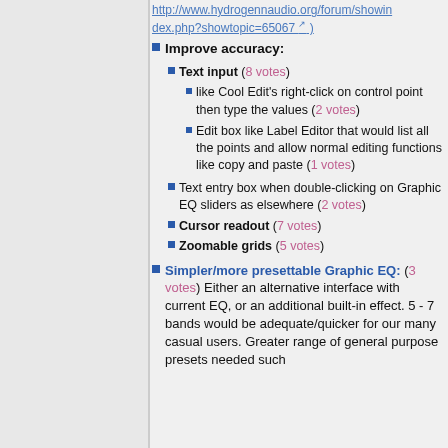http://www.hydrogennaudio.org/forum/showindexphp?showtopic=65067 )
Improve accuracy:
Text input (8 votes)
like Cool Edit's right-click on control point then type the values (2 votes)
Edit box like Label Editor that would list all the points and allow normal editing functions like copy and paste (1 votes)
Text entry box when double-clicking on Graphic EQ sliders as elsewhere (2 votes)
Cursor readout (7 votes)
Zoomable grids (5 votes)
Simpler/more presettable Graphic EQ: (3 votes) Either an alternative interface with current EQ, or an additional built-in effect. 5 - 7 bands would be adequate/quicker for our many casual users. Greater range of general purpose presets needed such